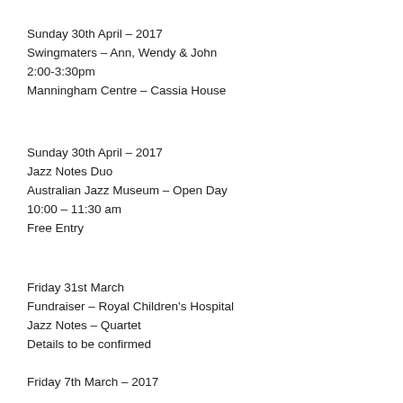Sunday 30th April – 2017
Swingmaters – Ann, Wendy & John
2:00-3:30pm
Manningham Centre – Cassia House
Sunday 30th April – 2017
Jazz Notes Duo
Australian Jazz Museum – Open Day
10:00 – 11:30 am
Free Entry
Friday 31st March
Fundraiser – Royal Children's Hospital
Jazz Notes – Quartet
Details to be confirmed
Friday 7th March – 2017